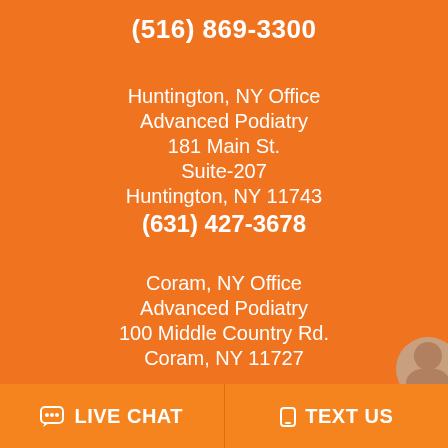(516) 869-3300
Huntington, NY Office
Advanced Podiatry
181 Main St.
Suite-207
Huntington, NY 11743
(631) 427-3678
Coram, NY Office
Advanced Podiatry
100 Middle Country Rd.
Coram, NY 11727
LIVE CHAT   TEXT US